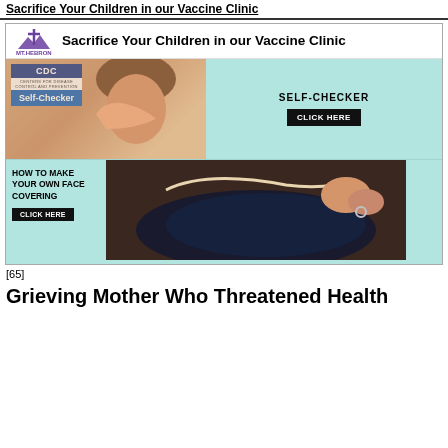Sacrifice Your Children in our Vaccine Clinic
[Figure (screenshot): Screenshot of a Mt. Hebron church website showing CDC Self-Checker banner with a girl sneezing and a 'How to Make Your Own Face Covering' section with a photo of hands sewing a face mask]
[65]
Grieving Mother Who Threatened Health